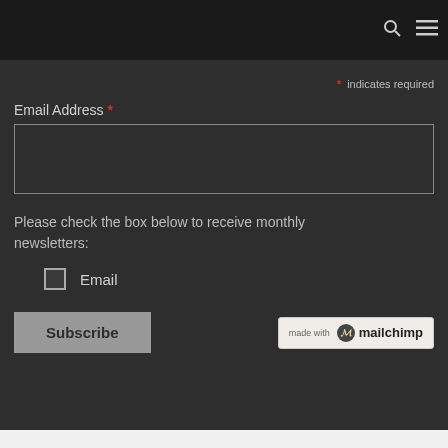Navigation bar with search and menu icons
* indicates required
Email Address *
[Figure (other): Email address text input field (empty)]
Please check the box below to receive monthly newsletters:
Email (checkbox)
[Figure (other): Subscribe button and Mailchimp badge]